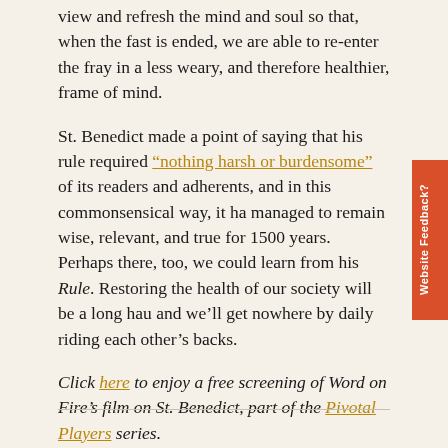view and refresh the mind and soul so that, when the fast is ended, we are able to re-enter the fray in a less weary, and therefore healthier, frame of mind.
St. Benedict made a point of saying that his rule required “nothing harsh or burdensome” of its readers and adherents, and in this commonsensical way, it has managed to remain wise, relevant, and true for 1500 years. Perhaps there, too, we could learn from his Rule. Restoring the health of our society will be a long haul, and we’ll get nowhere by daily riding each other’s backs.
Click here to enjoy a free screening of Word on Fire’s film on St. Benedict, part of the Pivotal Players series.